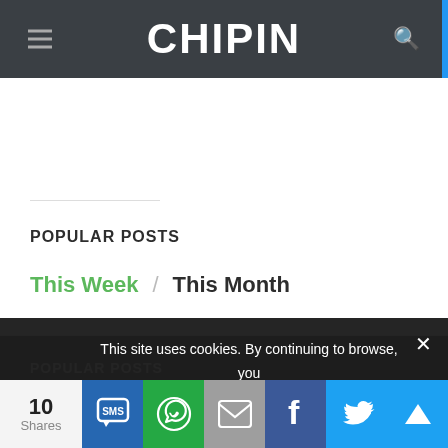CHIPIN
POPULAR POSTS
This Week / This Month
POPULAR POSTS
This site uses cookies. By continuing to browse, you are agreeing to our use of cookies
❯ Privacy Preferences
10 Shares